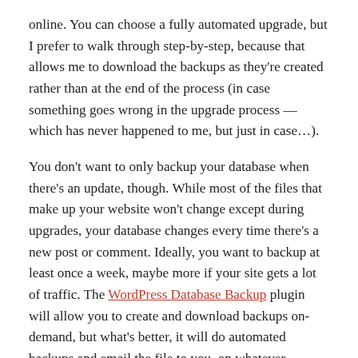online. You can choose a fully automated upgrade, but I prefer to walk through step-by-step, because that allows me to download the backups as they're created rather than at the end of the process (in case something goes wrong in the upgrade process — which has never happened to me, but just in case…).
You don't want to only backup your database when there's an update, though. While most of the files that make up your website won't change except during upgrades, your database changes every time there's a new post or comment. Ideally, you want to backup at least once a week, maybe more if your site gets a lot of traffic. The WordPress Database Backup plugin will allow you to create and download backups on-demand, but what's better, it will do automated backups and email the file to you, on whatever schedule you choose. Once it's installed, you tell it which database tables to backup — the default WordPress tables are selected by default, but lots of plugins add their own tables; I suggest selecting them all — and when to do it. From then on, every week (or whatever interval you've chosen) you'll get an email with the most recent backup